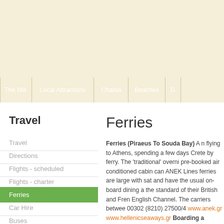[Figure (other): Top banner area with cream/beige background]
The Mill | Local Attractions | Chania | Beaches |
Travel
Travel
Directions
Flights - scheduled
Flights - charter
Ferries
Car Hire
Buses
Ferries
Ferries (Piraeus To Souda Bay) A n... flying to Athens, spending a few days... Crete by ferry. The 'traditional' overni... pre-booked air conditioned cabin can... ANEK Lines ferries are large with sat... and have the usual on-board dining a... the standard of their British and Fren... English Channel. The carriers betwee... 00302 (8210) 27500/4 www.anek.gr ... www.hellenicseaways.gr Boarding a...